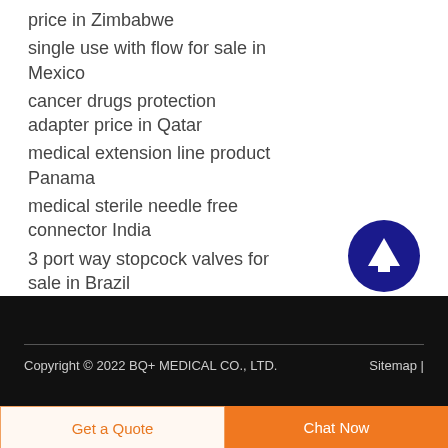price in Zimbabwe
single use with flow for sale in Mexico
cancer drugs protection adapter price in Qatar
medical extension line product Panama
medical sterile needle free connector India
3 port way stopcock valves for sale in Brazil
[Figure (illustration): Dark blue circle button with white upward arrow icon (scroll to top button)]
Copyright © 2022 BQ+ MEDICAL CO., LTD.    Sitemap |
Get a Quote
Chat Now